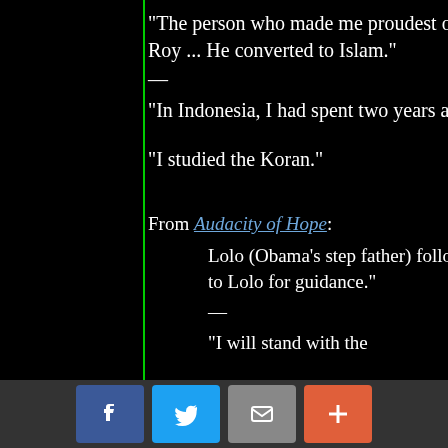“The person who made me proudest of all, though, was [half brother] Roy … He converted to Islam.”
—
“In Indonesia, I had spent two years at a Muslim school.”
“I studied the Koran.”
From Audacity of Hope:
Lolo (Obama’s step father) followed a brand of Islam : “I looked to Lolo for guidance.”
—
“I will stand with the
[Figure (infographic): Bottom social share bar with Facebook, Twitter, email, and plus buttons]